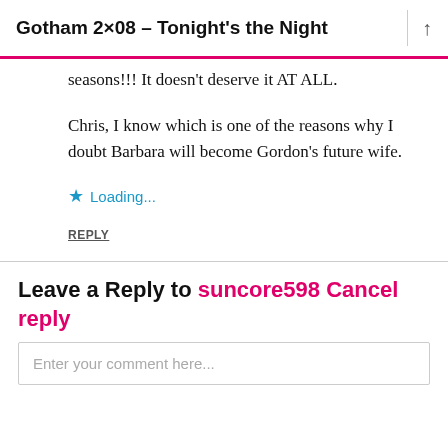Gotham 2×08 – Tonight's the Night
seasons!!! It doesn't deserve it AT ALL.
Chris, I know which is one of the reasons why I doubt Barbara will become Gordon's future wife.
★ Loading...
REPLY
Leave a Reply to suncore598 Cancel reply
Enter your comment here...